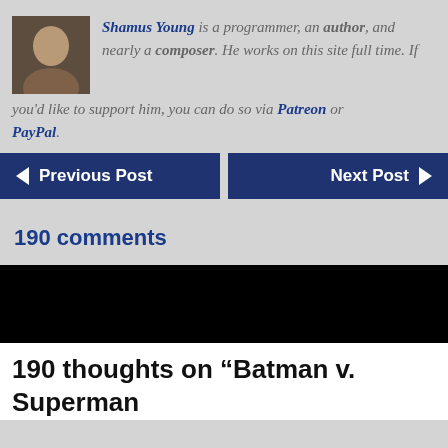Shamus Young is a programmer, an author, and nearly a composer. He works on this site full time. If you'd like to support him, you can do so via Patreon or PayPal.
Previous Post
Next Post
190 comments
[Figure (photo): Black section/banner area]
190 thoughts on “Batman v. Superman